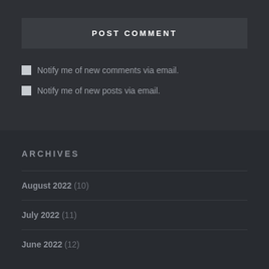POST COMMENT
Notify me of new comments via email.
Notify me of new posts via email.
ARCHIVES
August 2022 (10)
July 2022 (11)
June 2022 (12)